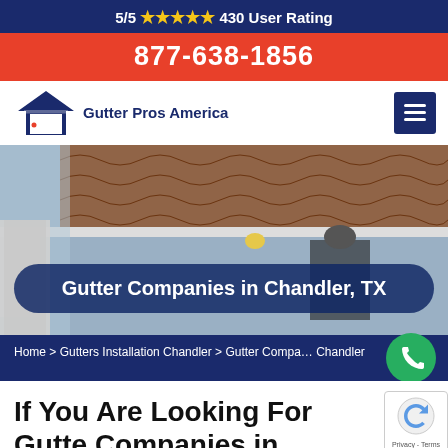5/5 ★★★★★ 430 User Rating
877-638-1856
[Figure (logo): Gutter Pros America logo with house icon]
Gutter Companies in Chandler, TX
Home > Gutters Installation Chandler > Gutter Companies Chandler
If You Are Looking For Gutter Companies in Chandler, TX Then Contact Gutter Pros